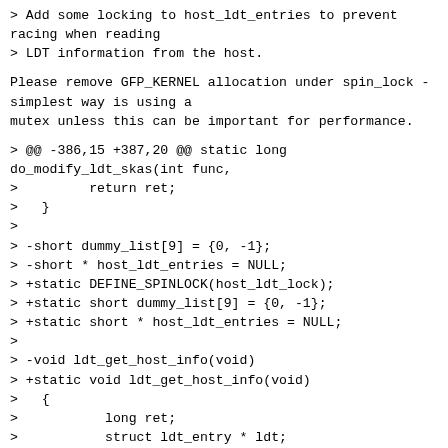> Add some locking to host_ldt_entries to prevent
racing when reading
> LDT information from the host.
Please remove GFP_KERNEL allocation under spin_lock -
simplest way is using a
mutex unless this can be important for performance.
> @@ -386,15 +387,20 @@ static long
do_modify_ldt_skas(int func,
>         return ret;
>   }
>
> -short dummy_list[9] = {0, -1};
> -short * host_ldt_entries = NULL;
> +static DEFINE_SPINLOCK(host_ldt_lock);
> +static short dummy_list[9] = {0, -1};
> +static short * host_ldt_entries = NULL;
>
> -void ldt_get_host_info(void)
> +static void ldt_get_host_info(void)
>   {
>           long ret;
>           struct ldt_entry * ldt;
>           int i, size, k, order;
>
> +         spin_lock(&host_ldt_lock);
> +         if(host_ldt_entries != NULL)
> +                 goto out_unlock;
> +